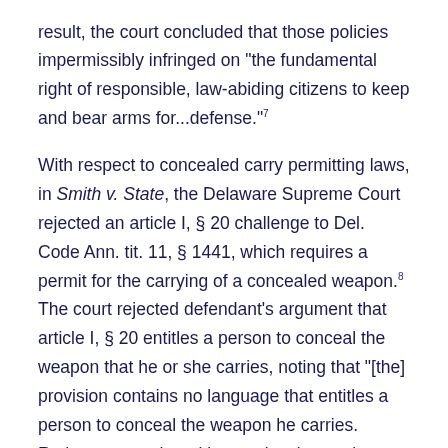result, the court concluded that those policies impermissibly infringed on "the fundamental right of responsible, law-abiding citizens to keep and bear arms for...defense."7
With respect to concealed carry permitting laws, in Smith v. State, the Delaware Supreme Court rejected an article I, § 20 challenge to Del. Code Ann. tit. 11, § 1441, which requires a permit for the carrying of a concealed weapon.8 The court rejected defendant's argument that article I, § 20 entitles a person to conceal the weapon that he or she carries, noting that "[the] provision contains no language that entitles a person to conceal the weapon he carries. Rather, any such entitlement involves only a privilege to carry a concealed weapon–a privilege that is regulated by statute."9 In addition, in Griffin v. State, the Delaware Supreme Court adopted a balancing test for the specific context of as-applied